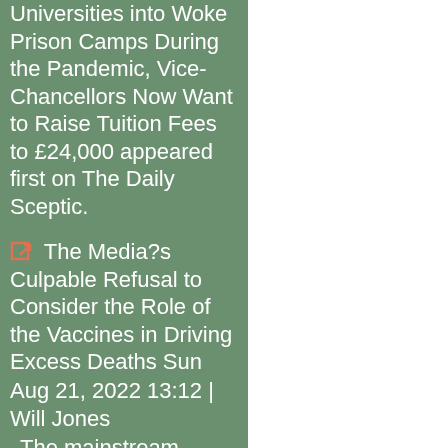Universities into Woke Prison Camps During the Pandemic, Vice-Chancellors Now Want to Raise Tuition Fees to £24,000 appeared first on The Daily Sceptic.
The Media?s Culpable Refusal to Consider the Role of the Vaccines in Driving Excess Deaths Sun Aug 21, 2022 13:12 | Will Jones The mainstream media are finally taking an interest in the 13,400